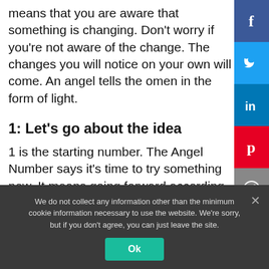means that you are aware that something is changing. Don't worry if you're not aware of the change. The changes you will notice on your own will come. An angel tells the omen in the form of light.
1: Let's go about the idea
1 is the starting number. The Angel Number says it's time to try something new. It means going forward according to your thoughts. When thinking, focus on your wishes, not fear. In addition, 1 also means that there is
We do not collect any information other than the minimum cookie information necessary to use the website. We're sorry, but if you don't agree, you can just leave the site.